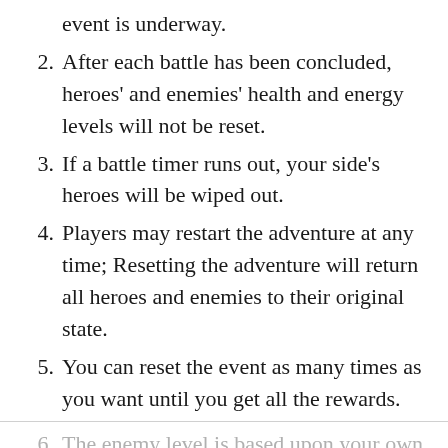event is underway.
2. After each battle has been concluded, heroes' and enemies' health and energy levels will not be reset.
3. If a battle timer runs out, your side's heroes will be wiped out.
4. Players may restart the adventure at any time; Resetting the adventure will return all heroes and enemies to their original state.
5. You can reset the event as many times as you want until you get all the rewards.
6. The enemy level is based upon your own heroes' strength and it won't